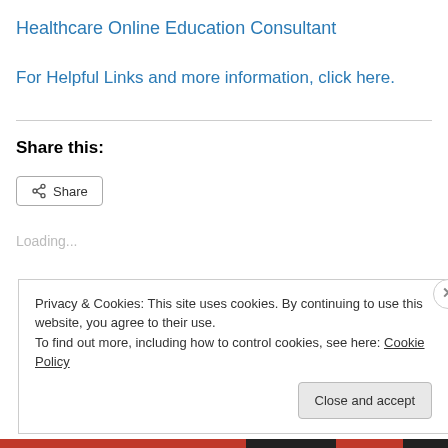Healthcare Online Education Consultant
For Helpful Links and more information, click here.
Share this:
Loading...
Privacy & Cookies: This site uses cookies. By continuing to use this website, you agree to their use.
To find out more, including how to control cookies, see here: Cookie Policy